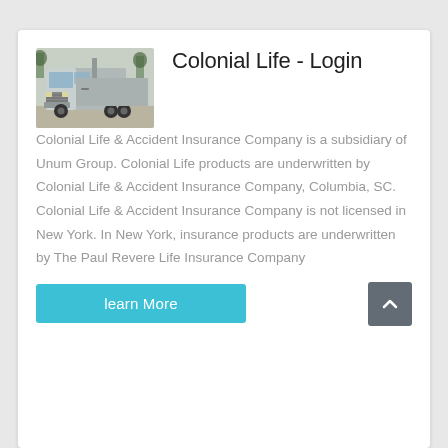[Figure (photo): A silver heavy-duty truck/semi-truck cab parked outdoors with trees in the background]
Colonial Life - Login
Colonial Life & Accident Insurance Company is a subsidiary of Unum Group. Colonial Life products are underwritten by Colonial Life & Accident Insurance Company, Columbia, SC. Colonial Life & Accident Insurance Company is not licensed in New York. In New York, insurance products are underwritten by The Paul Revere Life Insurance Company